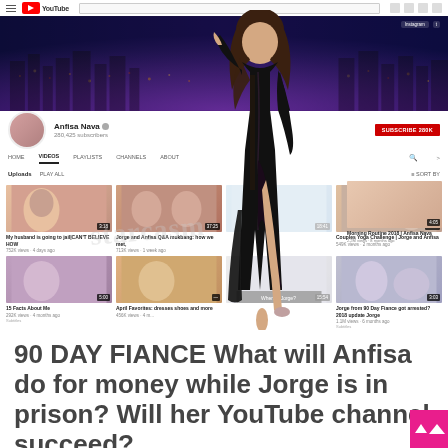[Figure (screenshot): Screenshot of Anfisa Nava's YouTube channel page showing channel banner, profile info with 280,425 subscribers, video thumbnails including 'My husband is going to jail CAN'T BELIEVE HOW', 'Jorge and Anfisa Q&A mukbang: how we met,', 'Couples Yoga Challenge | Jorge and Anfisa', 'Morning Routine 2018 | Anfisa Nava', '15 Facts About Me', 'April Favorites: dresses shoes and more', and 'Jorge from 90 Day Fiance got arrested? 2018 update Jorge'. A woman in a black dress is overlaid on the screenshot.]
90 DAY FIANCE What will Anfisa do for money while Jorge is in prison? Will her YouTube channel succeed?